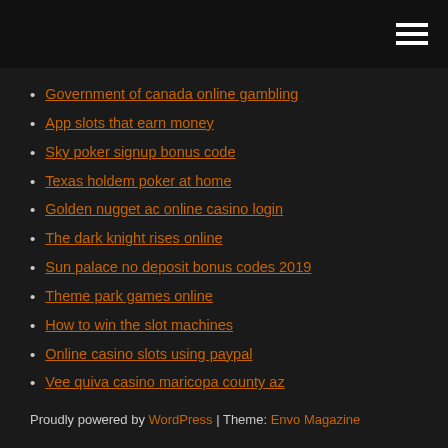Government of canada online gambling
App slots that earn money
Sky poker signup bonus code
Texas holdem poker at home
Golden nugget ac online casino login
The dark knight rises online
Sun palace no deposit bonus codes 2019
Theme park games online
How to win the slot machines
Online casino slots using paypal
Vee quiva casino maricopa county az
Proudly powered by WordPress | Theme: Envo Magazine